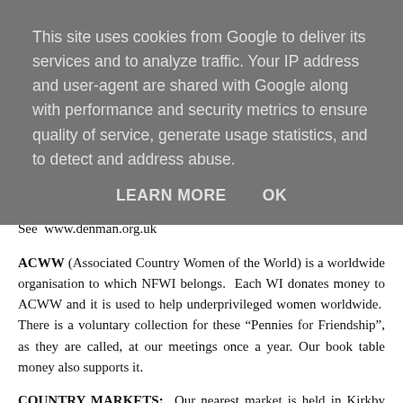This site uses cookies from Google to deliver its services and to analyze traffic. Your IP address and user-agent are shared with Google along with performance and security metrics to ensure quality of service, generate usage statistics, and to detect and address abuse.
LEARN MORE   OK
Oxford has, sadly, closed but there are some online talks. See www.denman.org.uk
ACWW (Associated Country Women of the World) is a worldwide organisation to which NFWI belongs. Each WI donates money to ACWW and it is used to help underprivileged women worldwide. There is a voluntary collection for these “Pennies for Friendship”, as they are called, at our meetings once a year. Our book table money also supports it.
COUNTRY MARKETS: Our nearest market is held in Kirkby Lonsdale Institute each Thursday from 10.00 to 11.30am. The market welcomes new customers and suppliers.